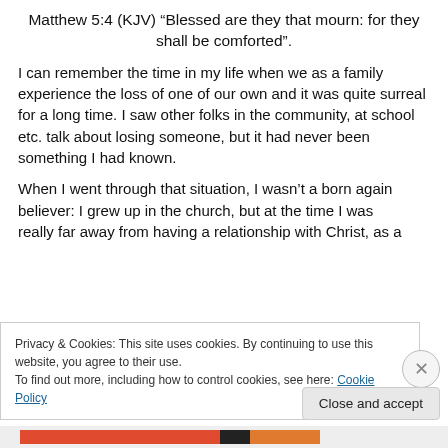Matthew 5:4 (KJV) “Blessed are they that mourn: for they shall be comforted”.
I can remember the time in my life when we as a family experience the loss of one of our own and it was quite surreal for a long time. I saw other folks in the community, at school etc. talk about losing someone, but it had never been something I had known.
When I went through that situation, I wasn’t a born again believer: I grew up in the church, but at the time I was really far away from having a relationship with Christ, as a
Privacy & Cookies: This site uses cookies. By continuing to use this website, you agree to their use.
To find out more, including how to control cookies, see here: Cookie Policy